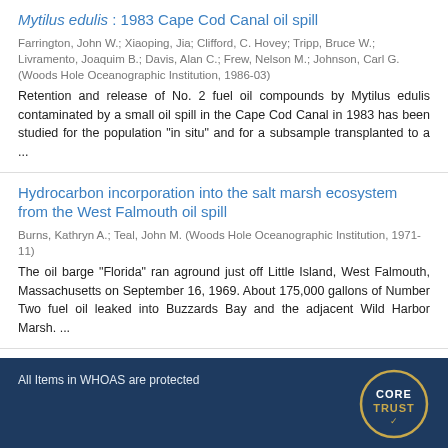Mytilus edulis : 1983 Cape Cod Canal oil spill
Farrington, John W.; Xiaoping, Jia; Clifford, C. Hovey; Tripp, Bruce W.; Livramento, Joaquim B.; Davis, Alan C.; Frew, Nelson M.; Johnson, Carl G. (Woods Hole Oceanographic Institution, 1986-03)
Retention and release of No. 2 fuel oil compounds by Mytilus edulis contaminated by a small oil spill in the Cape Cod Canal in 1983 has been studied for the population "in situ" and for a subsample transplanted to a ...
Hydrocarbon incorporation into the salt marsh ecosystem from the West Falmouth oil spill
Burns, Kathryn A.; Teal, John M. (Woods Hole Oceanographic Institution, 1971-11)
The oil barge "Florida" ran aground just off Little Island, West Falmouth, Massachusetts on September 16, 1969. About 175,000 gallons of Number Two fuel oil leaked into Buzzards Bay and the adjacent Wild Harbor Marsh. ...
All Items in WHOAS are protected